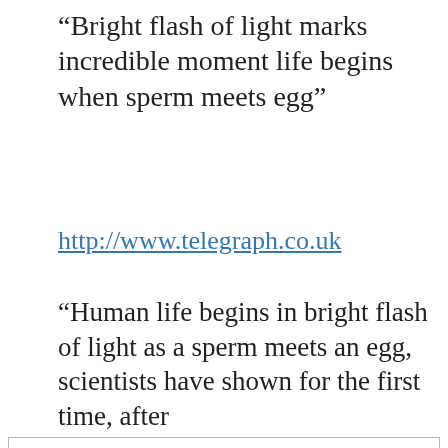“Bright flash of light marks incredible moment life begins when sperm meets egg”
http://www.telegraph.co.uk
“Human life begins in bright flash of light as a sperm meets an egg, scientists have shown for the first time, after
Privacy & Cookies: This site uses cookies. By continuing to use this website, you agree to their use.
To find out more, including how to control cookies, see here: Cookie Policy
exact moment of conception